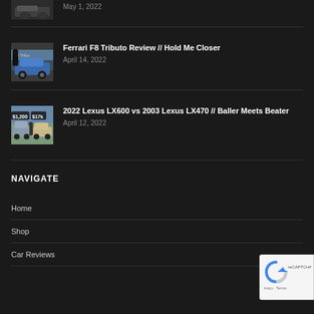May 1, 2022
Ferrari F8 Tributo Review // Hold Me Closer
April 14, 2022
2022 Lexus LX600 vs 2003 Lexus LX470 // Baller Meets Beater
April 12, 2022
NAVIGATE
Home
Shop
Car Reviews
[Figure (other): reCAPTCHA Privacy - Terms badge]